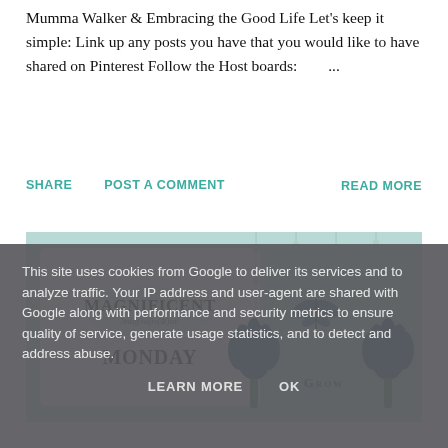Mumma Walker  &  Embracing the Good Life Let's keep it simple: Link up any posts you have that you would like to have shared on Pinterest Follow the Host boards:       ...
SHARE   POST A COMMENT   READ MORE
[Figure (illustration): Magnificent Monday blog post header image with white card showing 'Magnificent Monday' text with phonetic spelling, on a teal/mint green background with decorative dark blue tulip flowers and butterfly illustrations with 'Grow' text]
This site uses cookies from Google to deliver its services and to analyze traffic. Your IP address and user-agent are shared with Google along with performance and security metrics to ensure quality of service, generate usage statistics, and to detect and address abuse.
LEARN MORE   OK